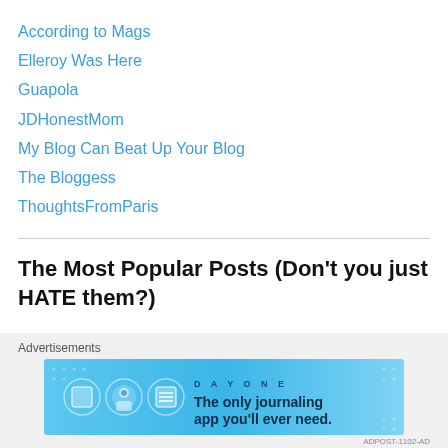According to Mags
Elleroy Was Here
Guapola
JDHonestMom
My Blog Can Beat Up Your Blog
The Bloggess
ThoughtsFromParis
The Most Popular Posts (Don't you just HATE them?)
A Letter to My Son on his 18th Birthday
15 Reasons I Love My Son (on his 15th Birthday)
Waterproof (for Trifecta)
Advertisements
[Figure (screenshot): DayOne app advertisement banner: 'The only journaling app you'll ever need.']